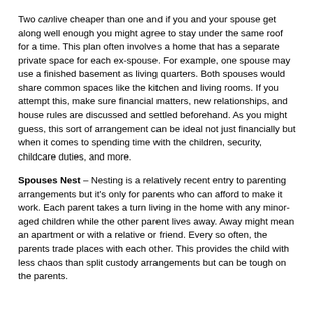Two can live cheaper than one and if you and your spouse get along well enough you might agree to stay under the same roof for a time. This plan often involves a home that has a separate private space for each ex-spouse. For example, one spouse may use a finished basement as living quarters. Both spouses would share common spaces like the kitchen and living rooms. If you attempt this, make sure financial matters, new relationships, and house rules are discussed and settled beforehand. As you might guess, this sort of arrangement can be ideal not just financially but when it comes to spending time with the children, security, childcare duties, and more.
Spouses Nest – Nesting is a relatively recent entry to parenting arrangements but it's only for parents who can afford to make it work. Each parent takes a turn living in the home with any minor-aged children while the other parent lives away. Away might mean an apartment or with a relative or friend. Every so often, the parents trade places with each other. This provides the child with less chaos than split custody arrangements but can be tough on the parents.